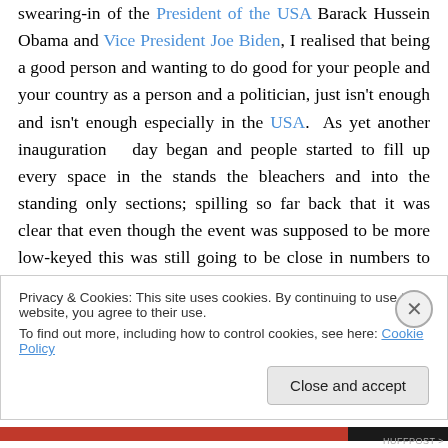swearing-in of the President of the USA Barack Hussein Obama and Vice President Joe Biden, I realised that being a good person and wanting to do good for your people and your country as a person and a politician, just isn't enough and isn't enough especially in the USA.  As yet another inauguration day began and people started to fill up every space in the stands the bleachers and into the standing only sections; spilling so far back that it was clear that even though the event was supposed to be more low-keyed this was still going to be close in numbers to the first record crowd.  It was nice to see white and
Privacy & Cookies: This site uses cookies. By continuing to use this website, you agree to their use.
To find out more, including how to control cookies, see here: Cookie Policy